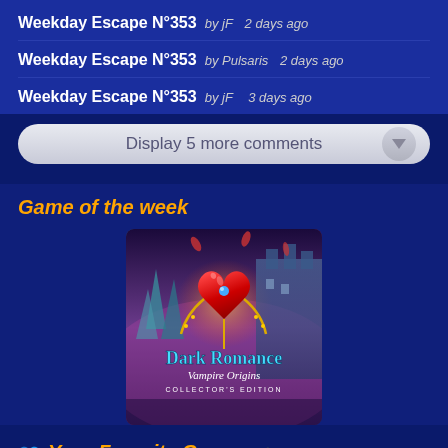Weekday Escape N°353  by jF  2 days ago
Weekday Escape N°353  by Pulsaris  2 days ago
Weekday Escape N°353  by jF  3 days ago
Display 5 more comments
Game of the week
[Figure (screenshot): Game cover art for Dark Romance: Vampire Origins Collector's Edition showing a glowing red heart gem with chains on a fantasy castle background]
Your Favorite Games